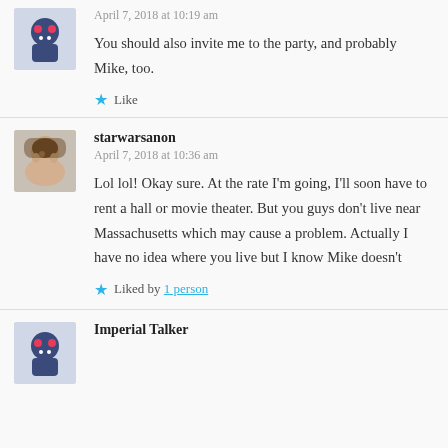April 7, 2018 at 10:19 am
You should also invite me to the party, and probably Mike, too.
Like
starwarsanon
April 7, 2018 at 10:36 am
Lol lol! Okay sure. At the rate I'm going, I'll soon have to rent a hall or movie theater. But you guys don't live near Massachusetts which may cause a problem. Actually I have no idea where you live but I know Mike doesn't
Liked by 1 person
Imperial Talker